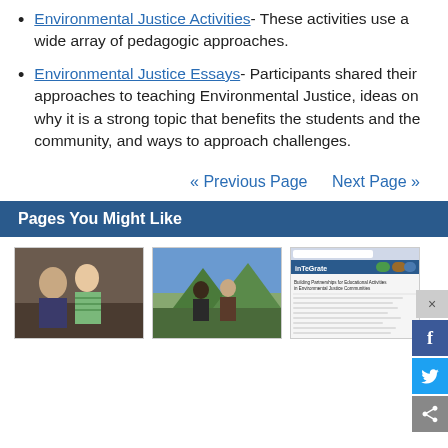Environmental Justice Activities- These activities use a wide array of pedagogic approaches.
Environmental Justice Essays- Participants shared their approaches to teaching Environmental Justice, ideas on why it is a strong topic that benefits the students and the community, and ways to approach challenges.
« Previous Page   Next Page »
Pages You Might Like
[Figure (photo): Two people looking at documents together indoors]
[Figure (photo): Two people outdoors in a forested mountainous area]
[Figure (screenshot): Screenshot of an InTeGrate webpage about Building Partnerships for Educational Activities in Environmental Justice Communities]